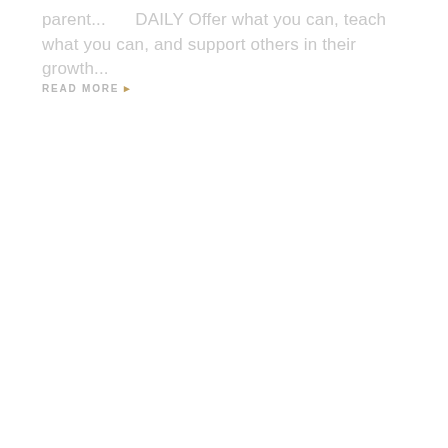parent...     DAILY Offer what you can, teach what you can, and support others in their growth...
READ MORE ▶